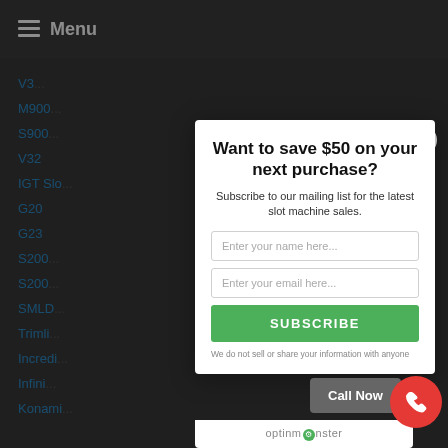Menu
V3
M900
S900
V32
IGT Slo
G20
G23
S200
S200
SMLD
Trimli
Incredi
Infini
Konami
Want to save $50 on your next purchase?
Subscribe to our mailing list for the latest slot machine sales.
Enter your name here...
Enter your email here...
SUBSCRIBE
We do not sell or share your information with anyone
Call Now
optinmonster